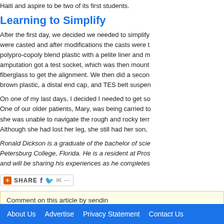Haiti and aspire to be two of its first students.
Learning to Simplify
After the first day, we decided we needed to simplify... were casted and after modifications the casts were t... polypro-copoly blend plastic with a pelite liner and m... amputation got a test socket, which was then mount... fiberglass to get the alignment. We then did a secon... brown plastic, a distal end cap, and TES belt suspen...
On one of my last days, I decided I needed to get so... One of our older patients, Mary, was being carried to... she was unable to navigate the rough and rocky terr... Although she had lost her leg, she still had her son,...
Ronald Dickson is a graduate of the bachelor of scie... Petersburg College, Florida. He is a resident at Pros... and will be sharing his experiences as he completes...
[Figure (other): Share bar with orange plus icon, SHARE text, Facebook, Twitter, and email icons]
Comment on this article by sendin...
About Us   Advertise   Privacy Statement   Contact Us